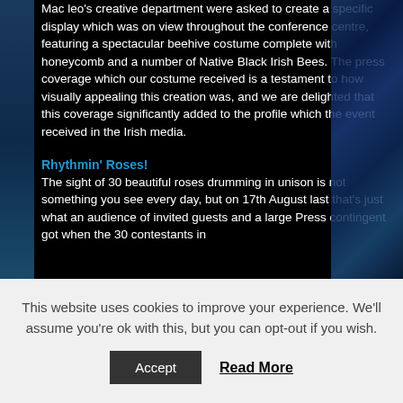Mac leo's creative department were asked to create a specific display which was on view throughout the conference centre, featuring a spectacular beehive costume complete with honeycomb and a number of Native Black Irish Bees. The press coverage which our costume received is a testament to how visually appealing this creation was, and we are delighted that this coverage significantly added to the profile which the event received in the Irish media.
Rhythmin' Roses!
The sight of 30 beautiful roses drumming in unison is not something you see every day, but on 17th August last that's just what an audience of invited guests and a large Press contingent got when the 30 contestants in
This website uses cookies to improve your experience. We'll assume you're ok with this, but you can opt-out if you wish.